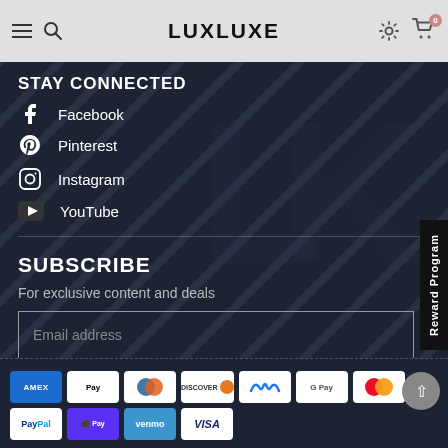LUXLUXE navigation bar with hamburger menu, search, settings, and cart icons
STAY CONNECTED
Facebook
Pinterest
Instagram
YouTube
SUBSCRIBE
For exclusive content and deals
Email address (input field)
SUBSCRIBE button
[Figure (other): Payment method icons: AMEX, Apple Pay, Diners Club, Discover, Meta Pay, Google Pay, Mastercard, PayPal, Shop Pay, Venmo, Visa]
Reward Program (side tab)